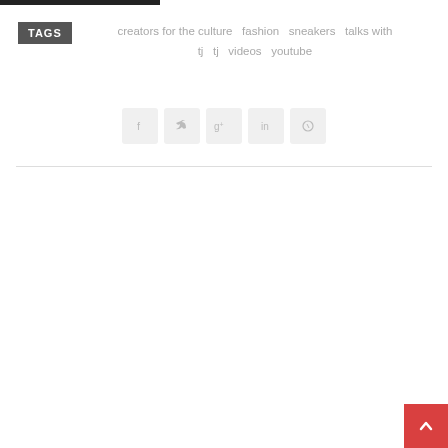TAGS  creators for the culture  fashion  sneakers  talks with  tj  tj  videos  youtube
[Figure (infographic): Row of five social media share buttons: Facebook (f), Twitter (bird), Google+ (g+), LinkedIn (in), Pinterest (pin icon)]
[Figure (infographic): Red back-to-top button with upward caret arrow in bottom-right corner]